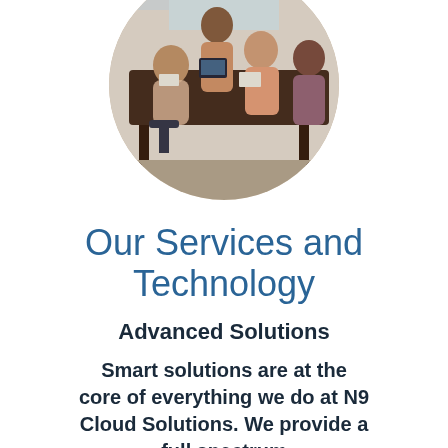[Figure (photo): Circular cropped photo of a group of people in a business meeting around a table, in an office setting.]
Our Services and Technology
Advanced Solutions
Smart solutions are at the core of everything we do at N9 Cloud Solutions. We provide a full spectrum of customizable services to